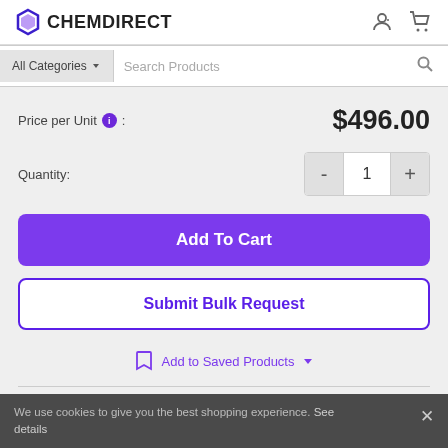[Figure (logo): ChemDirect logo with hexagon icon and bold text]
All Categories
Search Products
Price per Unit : $496.00
Quantity: 1
Add To Cart
Submit Bulk Request
Add to Saved Products
We use cookies to give you the best shopping experience. See details